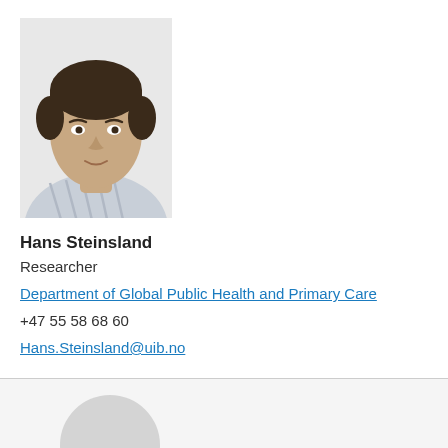[Figure (photo): Headshot photo of Hans Steinsland, a man with short dark hair wearing a light striped shirt, looking at the camera with a slight smile.]
Hans Steinsland
Researcher
Department of Global Public Health and Primary Care
+47 55 58 68 60
Hans.Steinsland@uib.no
[Figure (illustration): Partial circular gray avatar placeholder icon visible at bottom of page.]